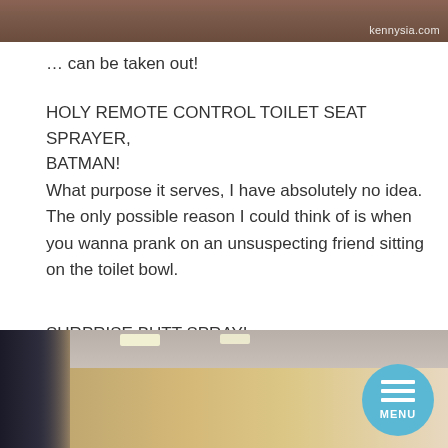[Figure (photo): Top portion of a photo with a watermark reading 'kennysia.com' in the bottom right corner. The image appears to show a warm-toned surface.]
… can be taken out!
HOLY REMOTE CONTROL TOILET SEAT SPRAYER, BATMAN!
What purpose it serves, I have absolutely no idea. The only possible reason I could think of is when you wanna prank on an unsuspecting friend sitting on the toilet bowl.
SURPRISE BUTT SPRAY!
[Figure (photo): Bottom portion showing a hallway/corridor scene with warm ceiling lights and a blue circular menu button with hamburger icon and 'MENU' text overlaid in the bottom right.]